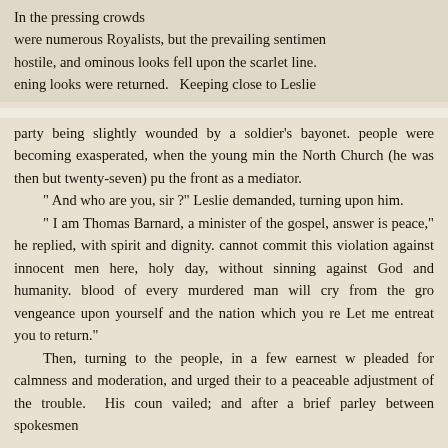In the pressing crowds were numerous Royalists, but the prevailing sentiment was hostile, and ominous looks fell upon the scarlet line. The threatening looks were returned. Keeping close to Leslie
party being slightly wounded by a soldier's bayonet. The people were becoming exasperated, when the young minister of the North Church (he was then but twenty-seven) pushed to the front as a mediator.
“ And who are you, sir ?” Leslie demanded, turning fiercely upon him.
“ I am Thomas Barnard, a minister of the gospel, and my answer is peace,” he replied, with spirit and dignity. “You cannot commit this violation against innocent men here, on a holy day, without sinning against God and humanity. The blood of every murdered man will cry from the ground for vengeance upon yourself and the nation which you represent. Let me entreat you to return.”
Then, turning to the people, in a few earnest words, he pleaded for calmness and moderation, and urged their submission to a peaceable adjustment of the trouble. His counsel prevailed; and after a brief parley between spokesmen